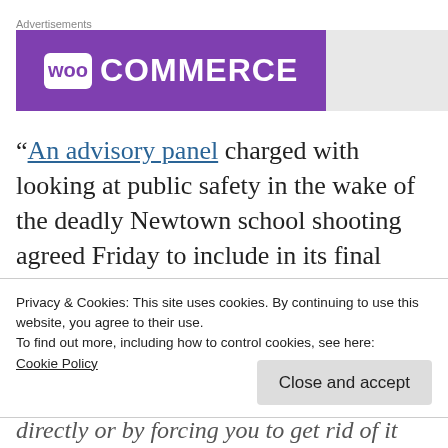[Figure (logo): WooCommerce advertisement banner with purple background and white WooCommerce logo]
"An advisory panel charged with looking at public safety in the wake of the deadly Newtown school shooting agreed Friday to include in its final report a recommendation to
Privacy & Cookies: This site uses cookies. By continuing to use this website, you agree to their use.
To find out more, including how to control cookies, see here:
Cookie Policy
Close and accept
directly or by forcing you to get rid of it